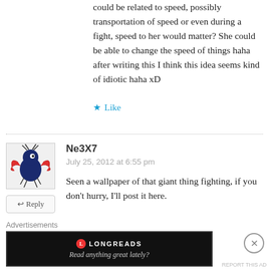could be related to speed, possibly transportation of speed or even during a fight, speed to her would matter? She could be able to change the speed of things haha after writing this I think this idea seems kind of idiotic haha xD
Like
Ne3X7
July 25, 2012 at 6:55 pm
Seen a wallpaper of that giant thing fighting, if you don't hurry, I'll post it here.
Advertisements
[Figure (screenshot): Longreads advertisement banner with logo and tagline 'Read anything great lately?']